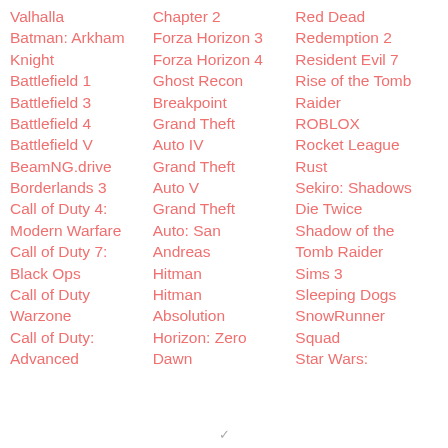Valhalla
Batman: Arkham Knight
Battlefield 1
Battlefield 3
Battlefield 4
Battlefield V
BeamNG.drive
Borderlands 3
Call of Duty 4: Modern Warfare
Call of Duty 7: Black Ops
Call of Duty Warzone
Call of Duty: Advanced
Chapter 2
Forza Horizon 3
Forza Horizon 4
Ghost Recon Breakpoint
Grand Theft Auto IV
Grand Theft Auto V
Grand Theft Auto: San Andreas
Hitman
Hitman Absolution
Horizon: Zero Dawn
Red Dead Redemption 2
Resident Evil 7
Rise of the Tomb Raider
ROBLOX
Rocket League
Rust
Sekiro: Shadows Die Twice
Shadow of the Tomb Raider
Sims 3
Sleeping Dogs
SnowRunner
Squad
Star Wars: